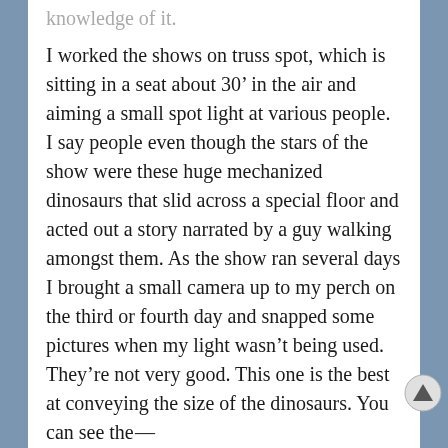knowledge of it.
I worked the shows on truss spot, which is sitting in a seat about 30’ in the air and aiming a small spot light at various people. I say people even though the stars of the show were these huge mechanized dinosaurs that slid across a special floor and acted out a story narrated by a guy walking amongst them. As the show ran several days I brought a small camera up to my perch on the third or fourth day and snapped some pictures when my light wasn’t being used. They’re not very good. This one is the best at conveying the size of the dinosaurs. You can see the —
[Figure (screenshot): Scroll-up navigation button in bottom-right area of the page]